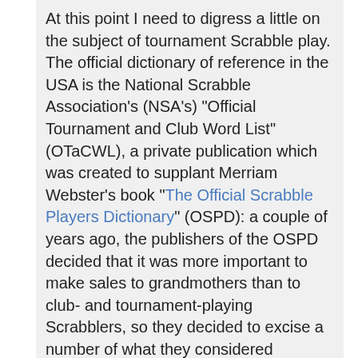At this point I need to digress a little on the subject of tournament Scrabble play. The official dictionary of reference in the USA is the National Scrabble Association's (NSA's) "Official Tournament and Club Word List" (OTaCWL), a private publication which was created to supplant Merriam Webster's book "The Official Scrabble Players Dictionary" (OSPD): a couple of years ago, the publishers of the OSPD decided that it was more important to make sales to grandmothers than to club- and tournament-playing Scrabblers, so they decided to excise a number of what they considered offensive words from the book.